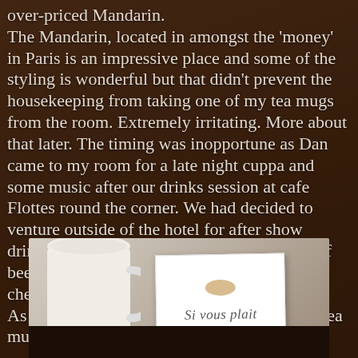over-priced Mandarin. The Mandarin, located in amongst the 'money' in Paris is an impressive place and some of the styling is wonderful but that didn't prevent the housekeeping from taking one of my tea mugs from the room. Extremely irritating. More about that later. The timing was inopportune as Dan came to my room for a late night cuppa and some music after our drinks session at cafe Flottes round the corner. We had decided to venture outside of the hotel for after show drinks as at the Mandarin hotel bar, a bottle of beer will set you back 15 Euros. Paris isn't cheap but that is taking the piss.
As I post I have had no word on the missing tea mug. Maybe this will help.
[Figure (photo): Photo of a white tea mug and a hand-written note card that says 'Si vous plait' with a small brown stamp/seal at the top, placed on a dark wooden surface.]